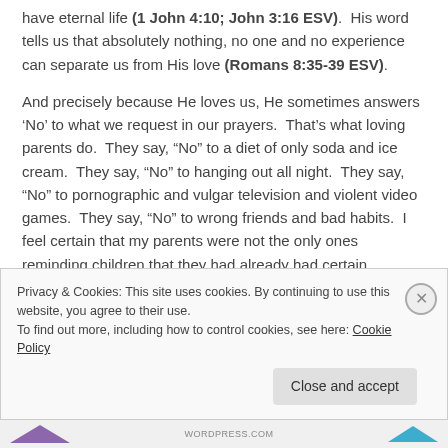have eternal life (1 John 4:10; John 3:16 ESV).  His word tells us that absolutely nothing, no one and no experience can separate us from His love (Romans 8:35-39 ESV).
And precisely because He loves us, He sometimes answers ‘No’ to what we request in our prayers.  That’s what loving parents do.  They say, “No” to a diet of only soda and ice cream.  They say, “No” to hanging out all night.  They say, “No” to pornographic and vulgar television and violent video games.  They say, “No” to wrong friends and bad habits.  I feel certain that my parents were not the only ones reminding children that they had already had certain
Privacy & Cookies: This site uses cookies. By continuing to use this website, you agree to their use.
To find out more, including how to control cookies, see here: Cookie Policy
Close and accept